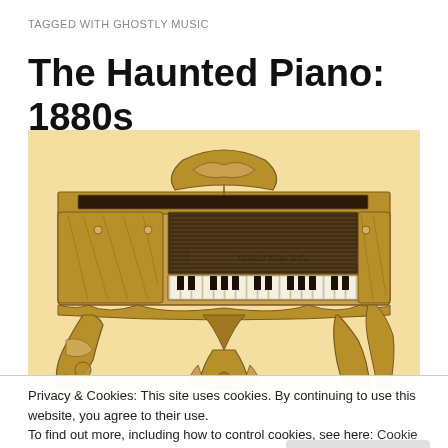TAGGED WITH GHOSTLY MUSIC
The Haunted Piano: 1880s
[Figure (illustration): Vintage engraving of an ornate 1880s grand piano with elaborate carved legs and decorative music stand, shown in a sepia/beige tone against a light background.]
Privacy & Cookies: This site uses cookies. By continuing to use this website, you agree to their use.
To find out more, including how to control cookies, see here: Cookie Policy
Close and accept